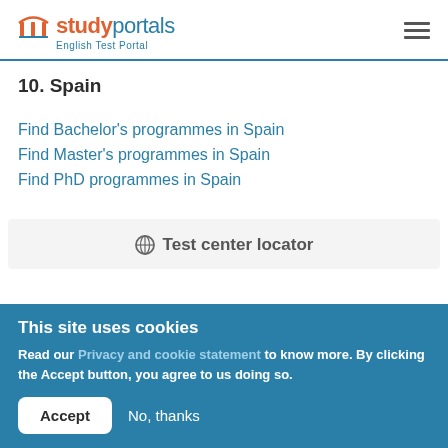studyportals English Test Portal
10. Spain
Find Bachelor's programmes in Spain
Find Master's programmes in Spain
Find PhD programmes in Spain
⊕ Test center locator
This site uses cookies
Read our Privacy and cookie statement to know more. By clicking the Accept button, you agree to us doing so.
Accept  No, thanks